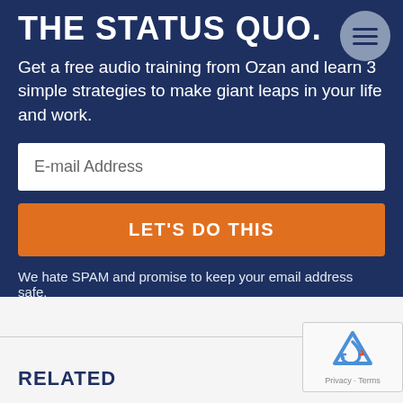THE STATUS QUO.
Get a free audio training from Ozan and learn 3 simple strategies to make giant leaps in your life and work.
E-mail Address
LET'S DO THIS
We hate SPAM and promise to keep your email address safe.
RELATED